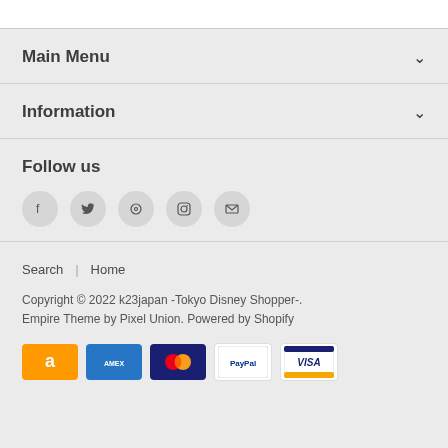Main Menu
Information
Follow us
[Figure (other): Social media icons: Facebook, Twitter, Pinterest, Instagram, Email]
Search | Home
Copyright © 2022 k23japan -Tokyo Disney Shopper-. Empire Theme by Pixel Union. Powered by Shopify
[Figure (other): Payment method icons: Amazon, American Express, Mastercard, PayPal, Visa]